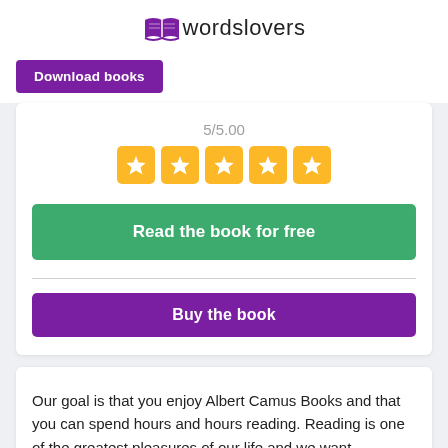[Figure (logo): Wordslovers logo with open book icon in purple and text 'wordslovers']
Download books
5/5.00
[Figure (infographic): Five gold star rating boxes]
Read the book for free
Buy the book
Our goal is that you enjoy Albert Camus Books and that you can spend hours and hours reading. Reading is one of the greatest pleasures of our life and we want